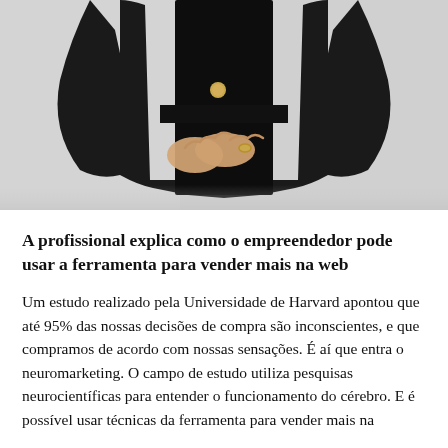[Figure (photo): A person wearing a black outfit (long-sleeved top and skirt/pants) with hands clasped in front at waist level. A gold button or brooch is visible on the outfit. The background is light grey/white. Only the torso and hands are visible.]
A profissional explica como o empreendedor pode usar a ferramenta para vender mais na web
Um estudo realizado pela Universidade de Harvard apontou que até 95% das nossas decisões de compra são inconscientes, e que compramos de acordo com nossas sensações. É aí que entra o neuromarketing. O campo de estudo utiliza pesquisas neurocientíficas para entender o funcionamento do cérebro. E é possível usar técnicas da ferramenta para vender mais...